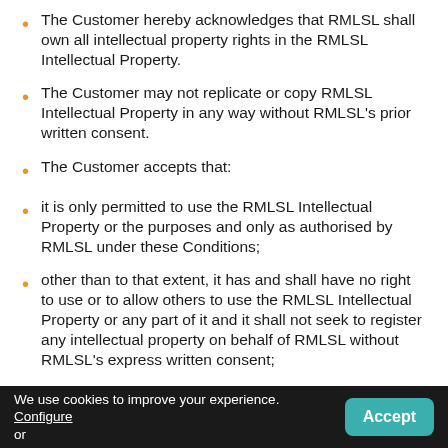The Customer hereby acknowledges that RMLSL shall own all intellectual property rights in the RMLSL Intellectual Property.
The Customer may not replicate or copy RMLSL Intellectual Property in any way without RMLSL's prior written consent.
The Customer accepts that:
it is only permitted to use the RMLSL Intellectual Property or the purposes and only as authorised by RMLSL under these Conditions;
other than to that extent, it has and shall have no right to use or to allow others to use the RMLSL Intellectual Property or any part of it and it shall not seek to register any intellectual property on behalf of RMLSL without RMLSL's express written consent;
We use cookies to improve your experience. Configure or